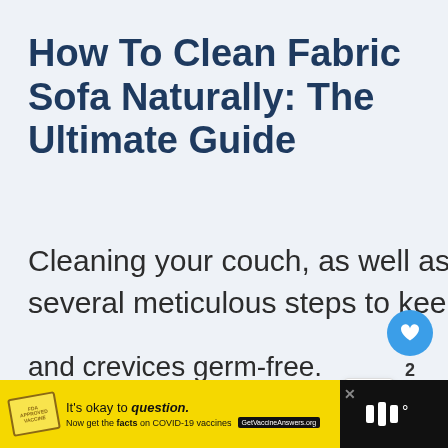How To Clean Fabric Sofa Naturally: The Ultimate Guide
Cleaning your couch, as well as its cushion seats, requires several meticulous steps to keep its surfaces and crevices germ-free.
[Figure (other): Social media overlay UI elements: heart/like button (blue circle, count 2), share button, and a 'What's Next' panel showing a thumbnail and text 'How to Mix and Match...']
[Figure (other): Advertisement banner at bottom: yellow section with stamp graphic and text 'It's okay to question. Now get the facts on COVID-19 vaccines. GetVaccineAnswers.org', dark right section with Mubi logo]